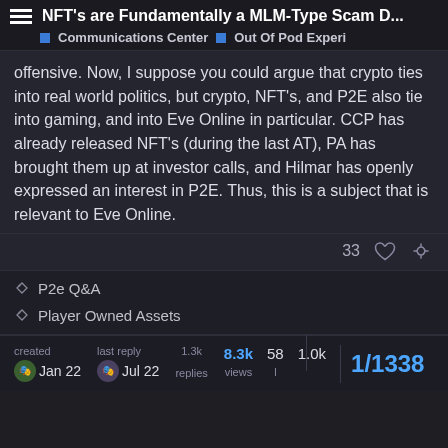NFT's are Fundamentally a MLM-Type Scam D...
Communications Center | Out Of Pod Experi
offensive. Now, I suppose you could argue that crypto ties into real world politics, but crypto, NFT's, and P2E also tie into gaming, and into Eve Online in particular. CCP has already released NFT's (during the last AT), PA has brought them up at investor calls, and Hilmar has openly expressed an interest in P2E. Thus, this is a subject that is relevant to Eve Online.
33 ♡ 🔗
P2e Q&A
Player Owned Assets
created Jan 22 | last reply Jul 22 | 1.3k replies | 8.3k views | 58 | 1.0k | 1/1338